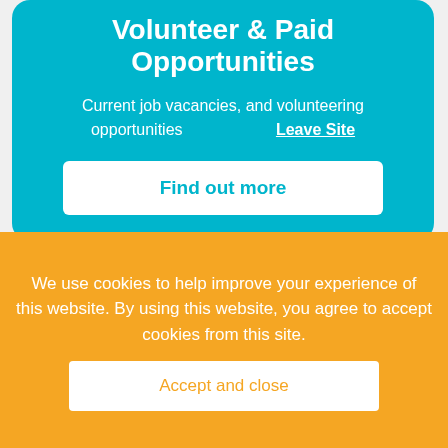Volunteer & Paid Opportunities
Current job vacancies, and volunteering opportunities
Leave Site
Find out more
We use cookies to help improve your experience of this website. By using this website, you agree to accept cookies from this site.
Accept and close